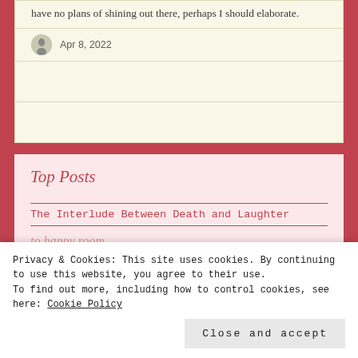have no plans of shining out there, perhaps I should elaborate.
Apr 8, 2022
Top Posts
The Interlude Between Death and Laughter
Privacy & Cookies: This site uses cookies. By continuing to use this website, you agree to their use. To find out more, including how to control cookies, see here: Cookie Policy
Close and accept